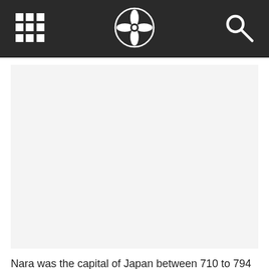[Navigation bar with grid icon, compass/flower logo, and search icon]
[Figure (photo): Large image area with light gray background, content not visible (image placeholder or loading area)]
Nara was the capital of Japan between 710 to 794 AD. The